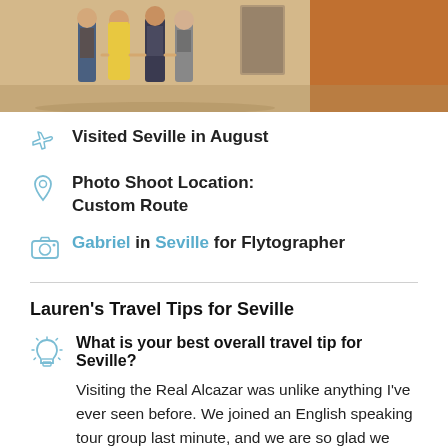[Figure (photo): Photo of a family/group of people walking outdoors near a terracotta/brown wall]
Visited Seville in August
Photo Shoot Location: Custom Route
Gabriel in Seville for Flytographer
Lauren's Travel Tips for Seville
What is your best overall travel tip for Seville?
Visiting the Real Alcazar was unlike anything I've ever seen before. We joined an English speaking tour group last minute, and we are so glad we did. It enhanced what we were seeing and experiencing a